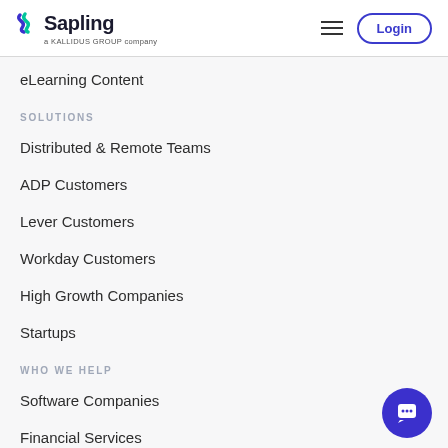Sapling – a KALLIDUS GROUP company | Login
eLearning Content
SOLUTIONS
Distributed & Remote Teams
ADP Customers
Lever Customers
Workday Customers
High Growth Companies
Startups
WHO WE HELP
Software Companies
Financial Services